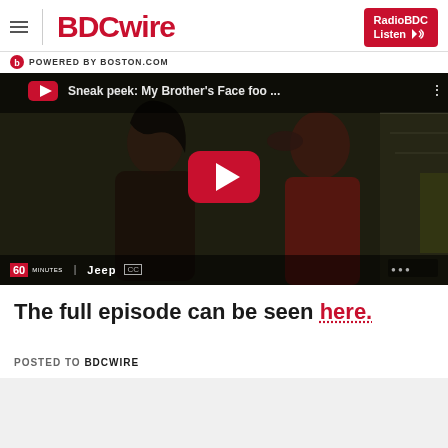BDCwire — POWERED BY BOSTON.COM — RadioBDC Listen
[Figure (screenshot): YouTube video thumbnail showing two people, one touching the other's face. Title text reads 'Sneak peek: My Brother's Face foo ...' with a YouTube play button overlay. Bottom bar shows '60 Minutes | Jeep CC' branding.]
The full episode can be seen here.
POSTED TO BDCWIRE